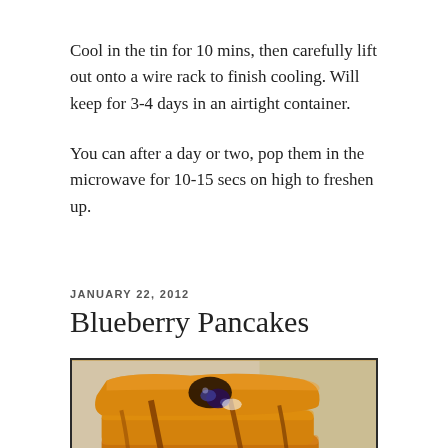Cool in the tin for 10 mins, then carefully lift out onto a wire rack to finish cooling. Will keep for 3-4 days in an airtight container.
You can after a day or two, pop them in the microwave for 10-15 secs on high to freshen up.
JANUARY 22, 2012
Blueberry Pancakes
[Figure (photo): Close-up photo of blueberry pancakes stacked with syrup drizzled over them, showing a blueberry burst on top, with warm golden-brown color]